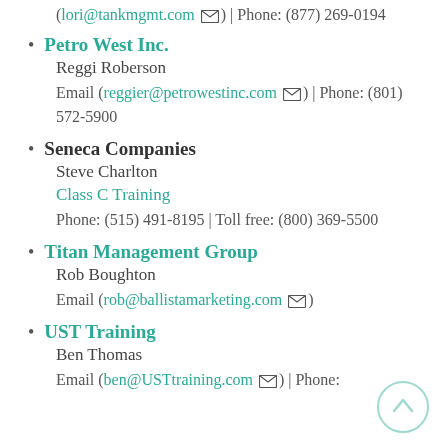(lori@tankmgmt.com) | Phone: (877) 269-0194
Petro West Inc.
Reggi Roberson
Email (reggier@petrowestinc.com) | Phone: (801) 572-5900
Seneca Companies
Steve Charlton
Class C Training
Phone: (515) 491-8195 | Toll free: (800) 369-5500
Titan Management Group
Rob Boughton
Email (rob@ballistamarketing.com)
UST Training
Ben Thomas
Email (ben@USTtraining.com) | Phone: